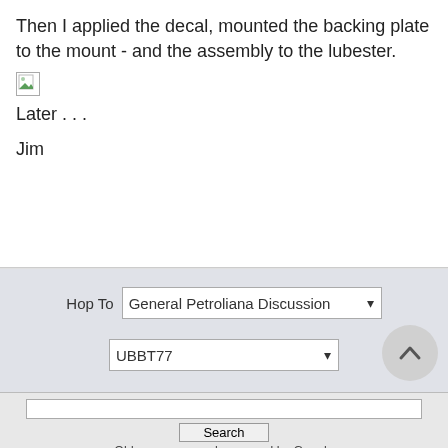Then I applied the decal, mounted the backing plate to the mount - and the assembly to the lubester.
[Figure (photo): Broken/missing image placeholder icon (small green triangle in corner of white box)]
Later . . .
Jim
Hop To   General Petroliana Discussion
UBBT77
Privacy Policy · Forum Rules · Mark All Read
Contact Us · Forum Help · Oldgas.com Home
Search
Oldgas.com search powered by Google